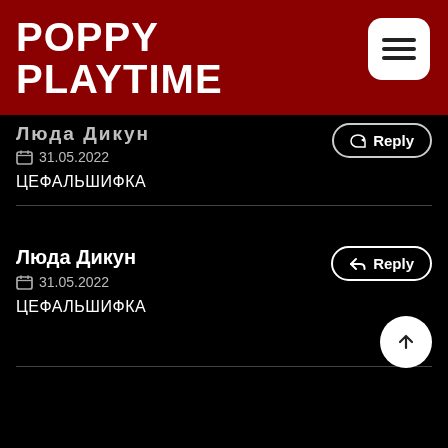POPPY PLAYTIME
Люда Дикун (partial/cropped) — 31.05.2022 — ЦЕФАЛЬШИФКА
Люда Дикун — 31.05.2022 — ЦЕФАЛЬШИФКА